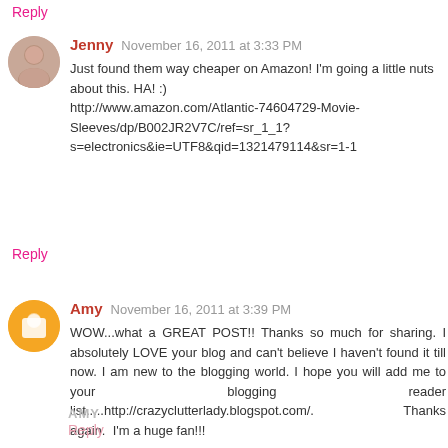Reply
Jenny  November 16, 2011 at 3:33 PM
Just found them way cheaper on Amazon! I'm going a little nuts about this. HA! :) http://www.amazon.com/Atlantic-74604729-Movie-Sleeves/dp/B002JR2V7C/ref=sr_1_1?s=electronics&ie=UTF8&qid=1321479114&sr=1-1
Reply
Amy  November 16, 2011 at 3:39 PM
WOW...what a GREAT POST!! Thanks so much for sharing. I absolutely LOVE your blog and can't believe I haven't found it till now. I am new to the blogging world. I hope you will add me to your blogging reader list.....http://crazyclutterlady.blogspot.com/.               Thanks again.  I'm a huge fan!!!
AMY
Reply